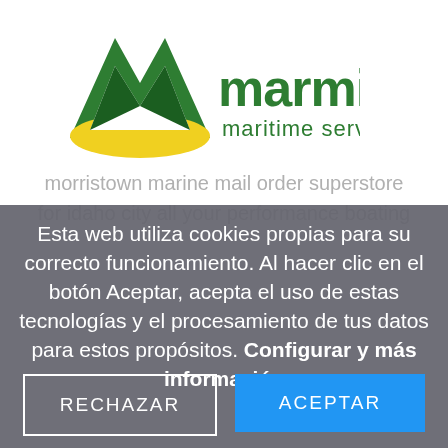[Figure (logo): Marmisur Maritime Services logo — green M-shaped icon with yellow arch, green text 'marmisur' and smaller green text 'maritime services']
morristown marine mail order superstore for idaho city all your performance boating
Esta web utiliza cookies propias para su correcto funcionamiento. Al hacer clic en el botón Aceptar, acepta el uso de estas tecnologías y el procesamiento de tus datos para estos propósitos. Configurar y más información
RECHAZAR
ACEPTAR